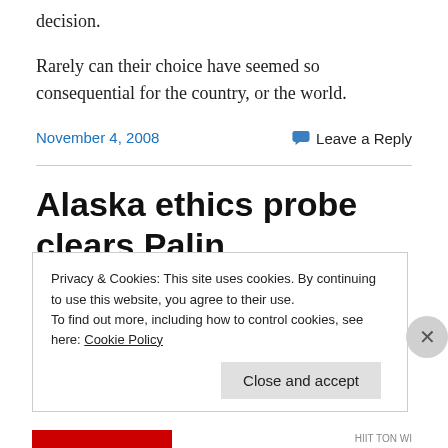decision.
Rarely can their choice have seemed so consequential for the country, or the world.
November 4, 2008
Leave a Reply
Alaska ethics probe clears Palin
Privacy & Cookies: This site uses cookies. By continuing to use this website, you agree to their use.
To find out more, including how to control cookies, see here: Cookie Policy
Close and accept